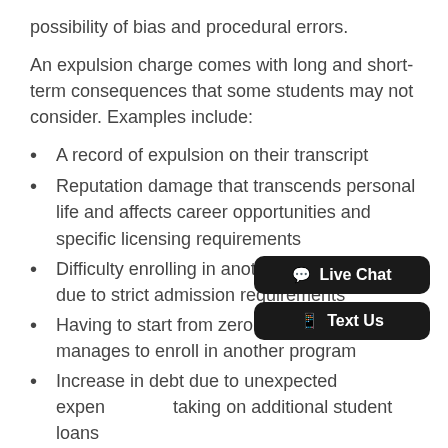possibility of bias and procedural errors.
An expulsion charge comes with long and short-term consequences that some students may not consider. Examples include:
A record of expulsion on their transcript
Reputation damage that transcends personal life and affects career opportunities and specific licensing requirements
Difficulty enrolling in another medical school due to strict admission requirements
Having to start from zero if the student manages to enroll in another program
Increase in debt due to unexpected expenses and taking on additional student loans
Loss of scholarships, privileges, and housing
Students facing expulsion have the right to appeal the decision of the Senate Executive Committee. The student